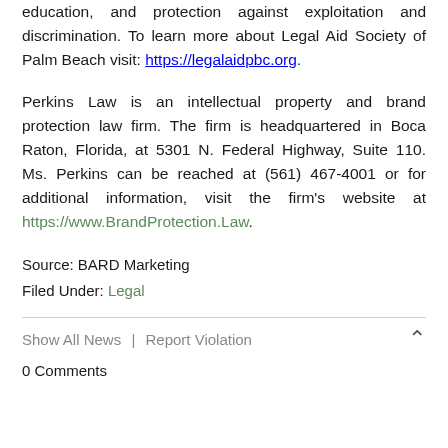education, and protection against exploitation and discrimination. To learn more about Legal Aid Society of Palm Beach visit: https://legalaidpbc.org.
Perkins Law is an intellectual property and brand protection law firm. The firm is headquartered in Boca Raton, Florida, at 5301 N. Federal Highway, Suite 110. Ms. Perkins can be reached at (561) 467-4001 or for additional information, visit the firm's website at https://www.BrandProtection.Law.
Source: BARD Marketing
Filed Under: Legal
Show All News | Report Violation
0 Comments